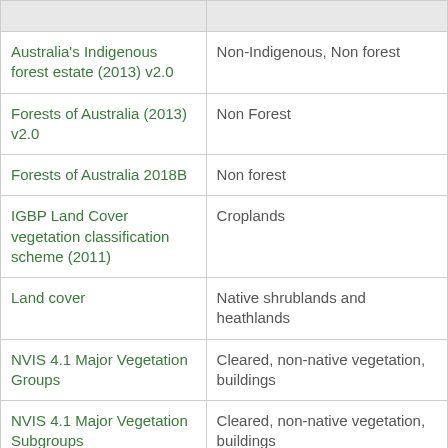|  |  |
| --- | --- |
| Australia's Indigenous forest estate (2013) v2.0 | Non-Indigenous, Non forest |
| Forests of Australia (2013) v2.0 | Non Forest |
| Forests of Australia 2018B | Non forest |
| IGBP Land Cover vegetation classification scheme (2011) | Croplands |
| Land cover | Native shrublands and heathlands |
| NVIS 4.1 Major Vegetation Groups | Cleared, non-native vegetation, buildings |
| NVIS 4.1 Major Vegetation Subgroups | Cleared, non-native vegetation, buildings |
| Tenure of Australia's forests (2013) v2.0 | Private Freehold |
| Vegetation - condition | Replaced |
| Vegetation types - native | Other shrublands |